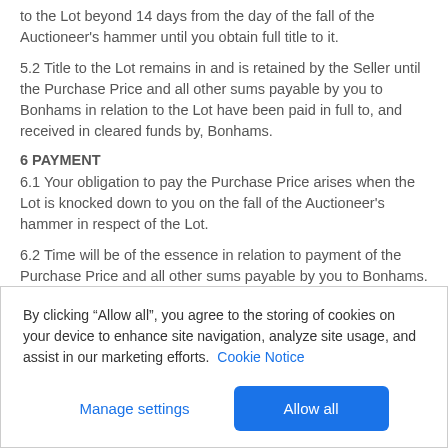to the Lot beyond 14 days from the day of the fall of the Auctioneer's hammer until you obtain full title to it.
5.2 Title to the Lot remains in and is retained by the Seller until the Purchase Price and all other sums payable by you to Bonhams in relation to the Lot have been paid in full to, and received in cleared funds by, Bonhams.
6 PAYMENT
6.1 Your obligation to pay the Purchase Price arises when the Lot is knocked down to you on the fall of the Auctioneer's hammer in respect of the Lot.
6.2 Time will be of the essence in relation to payment of the Purchase Price and all other sums payable by you to Bonhams. Unless agreed in writing with you by Bonhams on the Seller's behalf (in which case you must comply with the terms of that
By clicking “Allow all”, you agree to the storing of cookies on your device to enhance site navigation, analyze site usage, and assist in our marketing efforts. Cookie Notice
Manage settings
Allow all